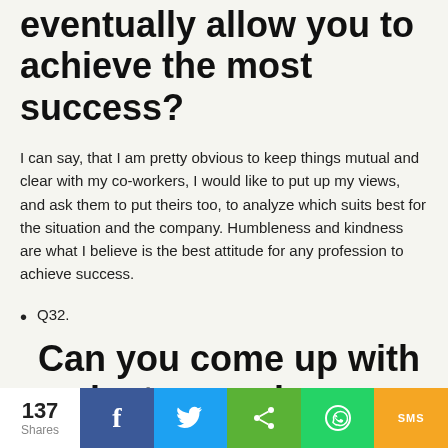eventually allow you to achieve the most success?
I can say, that I am pretty obvious to keep things mutual and clear with my co-workers, I would like to put up my views, and ask them to put theirs too, to analyze which suits best for the situation and the company. Humbleness and kindness are what I believe is the best attitude for any profession to achieve success.
Q32.
Can you come up with an instance when you worked with coworkers to solve